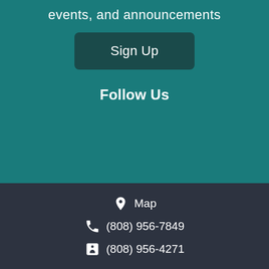events, and announcements
Sign Up
Follow Us
[Figure (illustration): Four social media icons: Facebook, Twitter, Instagram, LinkedIn]
Map
(808) 956-7849
(808) 956-4271